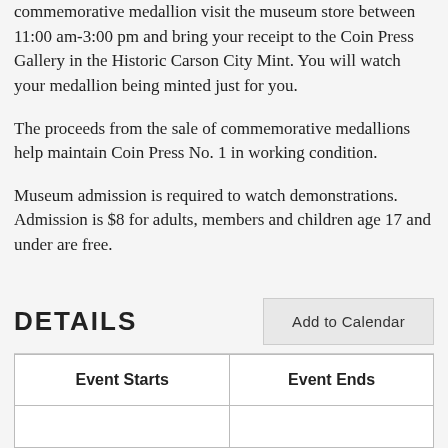commemorative medallion visit the museum store between 11:00 am-3:00 pm and bring your receipt to the Coin Press Gallery in the Historic Carson City Mint. You will watch your medallion being minted just for you.
The proceeds from the sale of commemorative medallions help maintain Coin Press No. 1 in working condition.
Museum admission is required to watch demonstrations. Admission is $8 for adults, members and children age 17 and under are free.
DETAILS
| Event Starts | Event Ends |
| --- | --- |
|  |